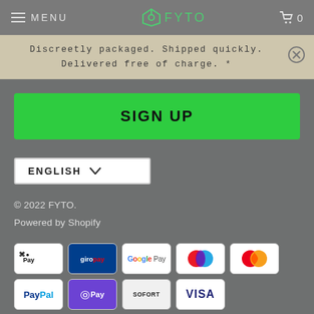MENU | FYTO | 0
Discreetly packaged. Shipped quickly. Delivered free of charge. *
SIGN UP
ENGLISH ∨
© 2022 FYTO.
Powered by Shopify
[Figure (other): Payment method icons: Apple Pay, Giropay, Google Pay, Maestro, Mastercard, PayPal, OPay, Sofort, VISA]